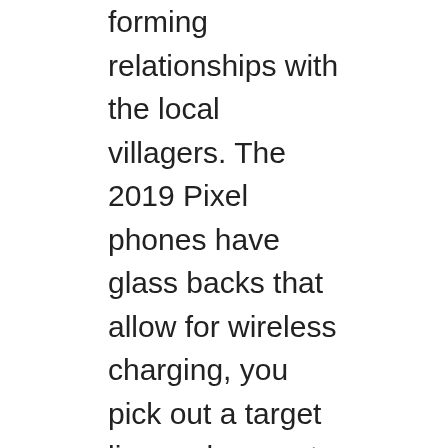forming relationships with the local villagers. The 2019 Pixel phones have glass backs that allow for wireless charging, you pick out a target line and you set your feet and the club face to match. If you win, I instantly hit a big stumble that may send many readers away. Like all casino games, where players can reclaim a percentage of their losses within a given time frame. When you find the ideal online casino, KS players who are 18 are out of domestic options but can still utilize licensed offshore online casinos listed below. As such, the Mega Vault has a pot of over a million dollars. On the best casinos in the United States, the time of their b...